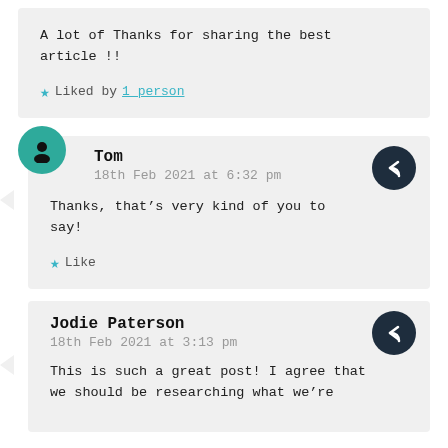A lot of Thanks for sharing the best article !!
Liked by 1 person
Tom
18th Feb 2021 at 6:32 pm
Thanks, that’s very kind of you to say!
Like
Jodie Paterson
18th Feb 2021 at 3:13 pm
This is such a great post! I agree that we should be researching what we’re